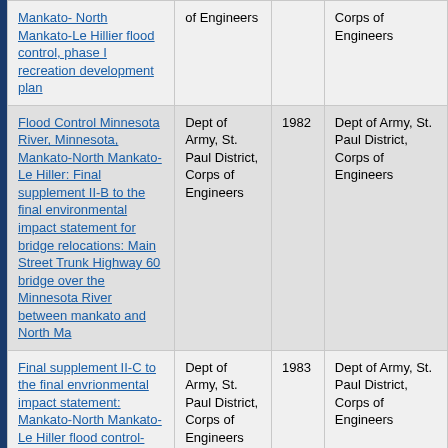| Mankato- North Mankato-Le Hillier flood control, phase I recreation development plan | of Engineers |  | Corps of Engineers |
| Flood Control Minnesota River, Minnesota, Mankato-North Mankato-Le Hiller: Final supplement II-B to the final environmental impact statement for bridge relocations: Main Street Trunk Highway 60 bridge over the Minnesota River between mankato and North Ma | Dept of Army, St. Paul District, Corps of Engineers | 1982 | Dept of Army, St. Paul District, Corps of Engineers |
| Final supplement II-C to the final envrionmental impact statement: Mankato-North Mankato-Le Hiller flood control-phase I: proposed plan for the alteration or relocation of Chicago and | Dept of Army, St. Paul District, Corps of Engineers | 1983 | Dept of Army, St. Paul District, Corps of Engineers |